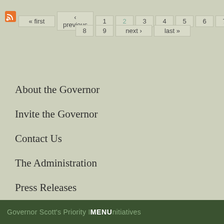« first ‹ previous 1 2 3 4 5 6 7 8 9 next › last »
About the Governor
Invite the Governor
Contact Us
The Administration
Press Releases
Boards and Commissions
Media Inquiries
Governor Scott's Priority Initiatives  MENU